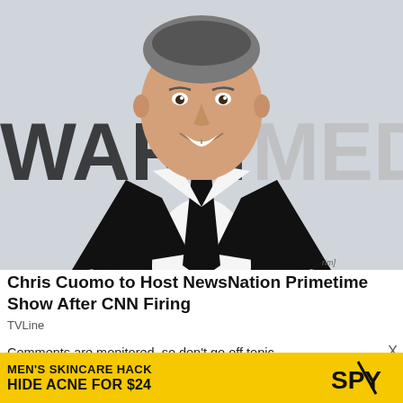[Figure (photo): Chris Cuomo in a black suit and black tie, smiling, standing in front of a Warner Media backdrop. Text 'WARN' visible on left and 'MEDI' on right of backdrop.]
Chris Cuomo to Host NewsNation Primetime Show After CNN Firing
TVLine
Comments are monitored, so don't go off topic, don't forkin' curse and don't bore us with how muc
[Figure (screenshot): Advertisement banner: MEN'S SKINCARE HACK HIDE ACNE FOR $24 with SPY logo on yellow background.]